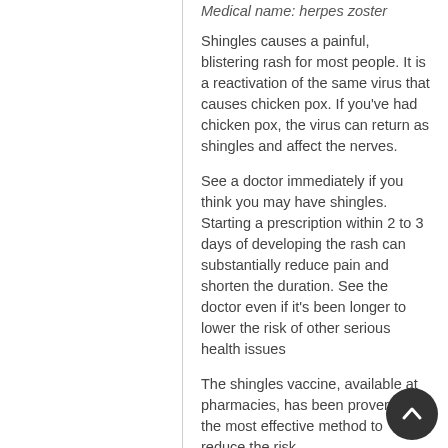Medical name: herpes zoster
Shingles causes a painful, blistering rash for most people. It is a reactivation of the same virus that causes chicken pox. If you've had chicken pox, the virus can return as shingles and affect the nerves.
See a doctor immediately if you think you may have shingles. Starting a prescription within 2 to 3 days of developing the rash can substantially reduce pain and shorten the duration. See the doctor even if it's been longer to lower the risk of other serious health issues
The shingles vaccine, available at pharmacies, has been proven as the most effective method to reduce the risk.